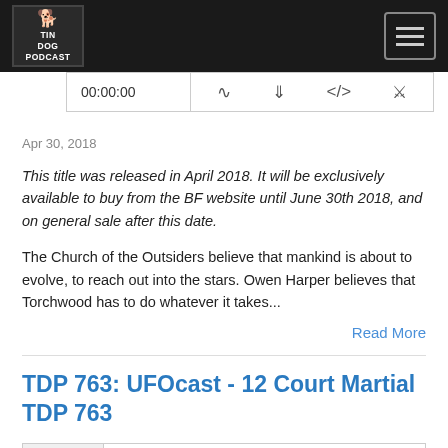TIN DOG PODCAST
00:00:00
Apr 30, 2018
This title was released in April 2018. It will be exclusively available to buy from the BF website until June 30th 2018, and on general sale after this date.
The Church of the Outsiders believe that mankind is about to evolve, to reach out into the stars. Owen Harper believes that Torchwood has to do whatever it takes...
Read More
TDP 763: UFOcast - 12 Court Martial TDP 763
DOCTOR WHO: TIN DOG PODCAST
TDP 763: UFOcast - 12 Court Martial TDP 763